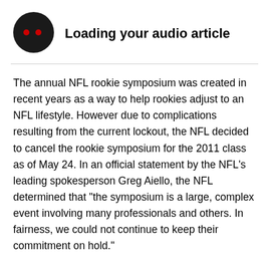[Figure (illustration): Black circular audio player icon with two small red dots and loading animation dots]
Loading your audio article
The annual NFL rookie symposium was created in recent years as a way to help rookies adjust to an NFL lifestyle. However due to complications resulting from the current lockout, the NFL decided to cancel the rookie symposium for the 2011 class as of May 24. In an official statement by the NFL's leading spokesperson Greg Aiello, the NFL determined that "the symposium is a large, complex event involving many professionals and others. In fairness, we could not continue to keep their commitment on hold."